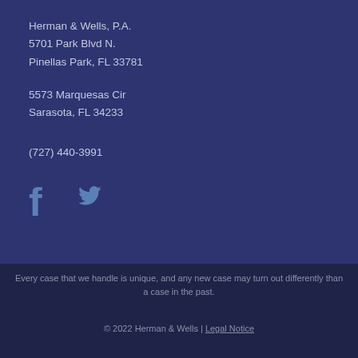Herman & Wells, P.A.
5701 Park Blvd N.
Pinellas Park, FL 33781
5573 Marquesas Cir
Sarasota, FL 34233
(727) 440-3991
[Figure (illustration): Facebook and Twitter social media icons in blue]
Every case that we handle is unique, and any new case may turn out differently than a case in the past.
© 2022 Herman & Wells | Legal Notice